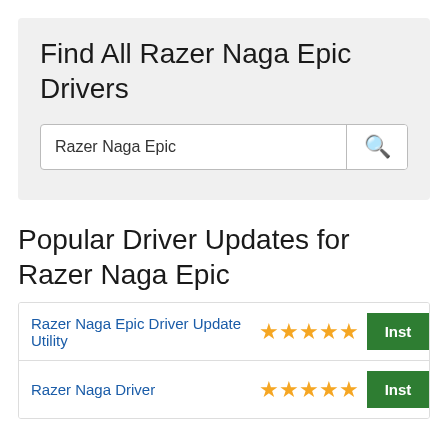Find All Razer Naga Epic Drivers
[Figure (screenshot): Search bar with text 'Razer Naga Epic' and a magnifying glass search button]
Popular Driver Updates for Razer Naga Epic
Razer Naga Epic Driver Update Utility — 5 stars — Install
Razer Naga Driver — 5 stars — Install